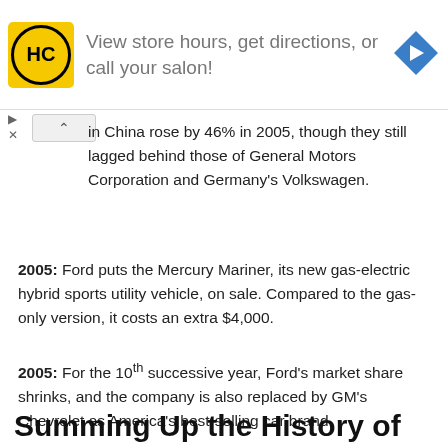[Figure (other): Advertisement banner for HC (Hair Club or similar salon) showing yellow logo with HC text, ad text 'View store hours, get directions, or call your salon!', and a blue navigation arrow icon on the right. Small play and close controls at bottom left.]
in China rose by 46% in 2005, though they still lagged behind those of General Motors Corporation and Germany's Volkswagen.
2005: Ford puts the Mercury Mariner, its new gas-electric hybrid sports utility vehicle, on sale. Compared to the gas-only version, it costs an extra $4,000.
2005: For the 10th successive year, Ford's market share shrinks, and the company is also replaced by GM's Chevrolet as America's best-selling car brand.
Summing Up the History of Ford